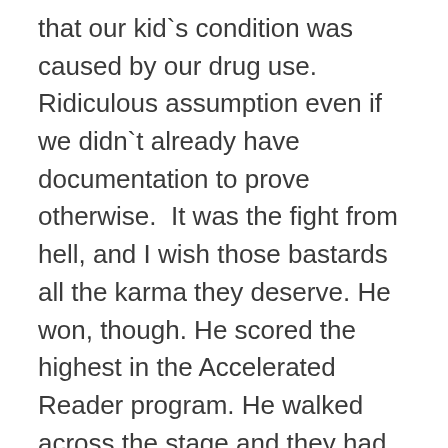that our kid`s condition was caused by our drug use. Ridiculous assumption even if we didn`t already have documentation to prove otherwise.  It was the fight from hell, and I wish those bastards all the karma they deserve. He won, though. He scored the highest in the Accelerated Reader program. He walked across the stage and they had to hand him a diploma because he earned it. Everything they did to make our lives hell and to get him expelled got thrown in their faces that day. He continues to be an inspiration to a lot of people.